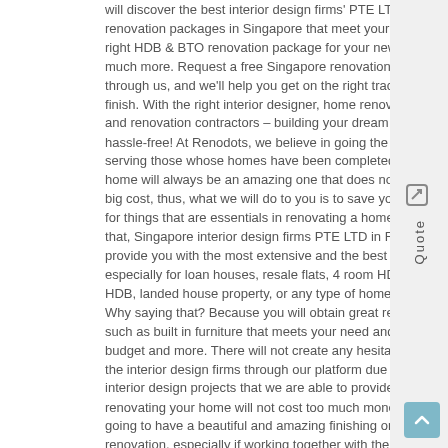will discover the best interior design firms' PTE LTD packages or renovation packages in Singapore that meet your needs, find the right HDB & BTO renovation package for your new place and so much more. Request a free Singapore renovation quotation through us, and we'll help you get on the right track – from start to finish. With the right interior designer, home renovation package, and renovation contractors – building your dream home is that hassle-free! At Renodots, we believe in going the extra mile by serving those whose homes have been completed, so that your home will always be an amazing one that does not need such a big cost, thus, what we will do to you is to save your own budget for things that are essentials in renovating a home. Other than that, Singapore interior design firms PTE LTD in Renodots also provide you with the most extensive and the best renovation., especially for loan houses, resale flats, 4 room HDB, large area HDB, landed house property, or any type of home that you own. Why saying that? Because you will obtain great recommendations such as built in furniture that meets your need and your own budget and more. There will not create any hesitation to contact the interior design firms through our platform due to the trusted interior design projects that we are able to provide. With us, renovating your home will not cost too much money, but you are going to have a beautiful and amazing finishing or your house renovation, especially if working together with the